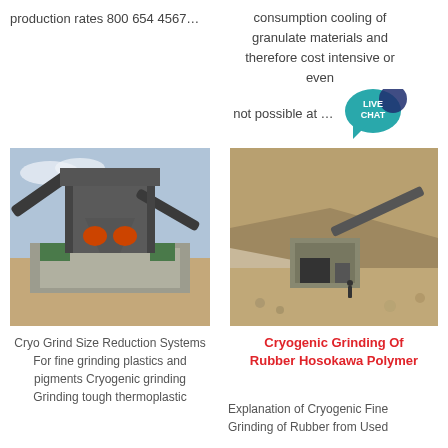production rates 800 654 4567…
consumption cooling of granulate materials and therefore cost intensive or even not possible at …
[Figure (photo): Industrial crushing/grinding machine installation on concrete platform with conveyor belts and steel structure]
[Figure (photo): Aerial view of an open-pit mining or quarry site with heavy machinery and conveyor belt on hillside]
Cryo Grind Size Reduction Systems For fine grinding plastics and pigments Cryogenic grinding Grinding tough thermoplastic
Cryogenic Grinding Of Rubber Hosokawa Polymer
Explanation of Cryogenic Fine Grinding of Rubber from Used